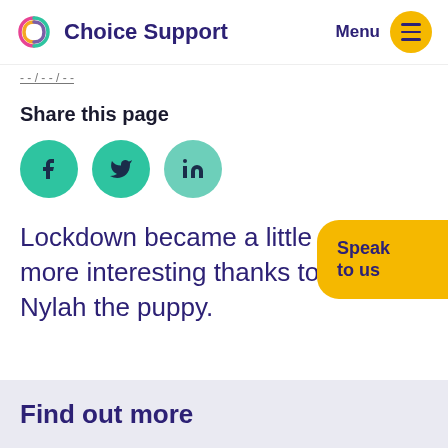Choice Support | Menu
Share this page
[Figure (other): Social sharing icons: Facebook, Twitter, LinkedIn as teal circles]
Lockdown became a little more interesting thanks to Nylah the puppy.
Find out more